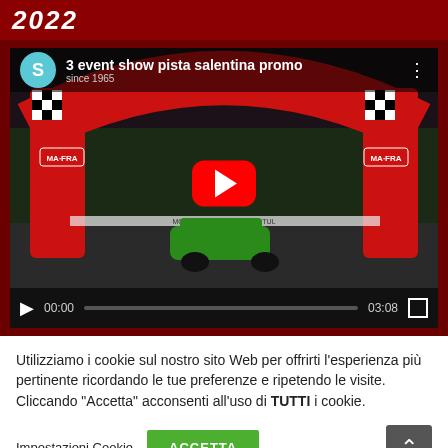2022
[Figure (screenshot): YouTube video player showing '3 event show pista salentina promo' with a racing car passing under a red MA-FRA branded inflatable arch at a motorsport track. Controls show 00:00 / 03:08.]
Utilizziamo i cookie sul nostro sito Web per offrirti l'esperienza più pertinente ricordando le tue preferenze e ripetendo le visite. Cliccando "Accetta" acconsenti all'uso di TUTTI i cookie.
Impostazioni Cookie
ACCETTA